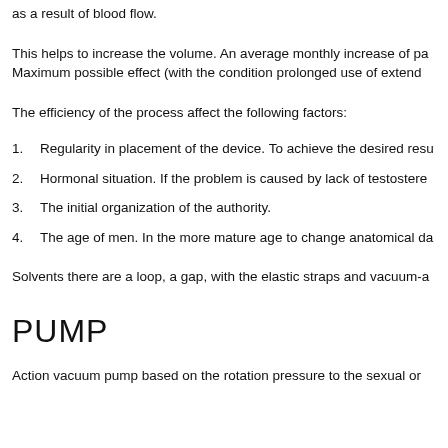as a result of blood flow.
This helps to increase the volume. An average monthly increase of pa Maximum possible effect (with the condition prolonged use of extend
The efficiency of the process affect the following factors:
1.  Regularity in placement of the device. To achieve the desired resu
2.  Hormonal situation. If the problem is caused by lack of testostere
3.  The initial organization of the authority.
4.  The age of men. In the more mature age to change anatomical da
Solvents there are a loop, a gap, with the elastic straps and vacuum-a
PUMP
Action vacuum pump based on the rotation pressure to the sexual or